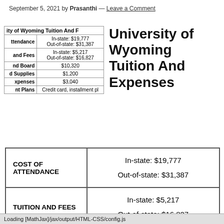September 5, 2021 by Prasanthi — Leave a Comment
|  |  |
| --- | --- |
| ity of Wyoming Tuition And F |  |
| ttendance | In-state: $19,777
Out-of-state: $31,387 |
| and Fees | In-state: $5,217
Out-of-state: $16,827 |
| nd Board | $10,320 |
| d Supplies | $1,200 |
| xpenses | $3,040 |
| nt Plans | Credit card, installment pl |
University of Wyoming Tuition And Expenses
| Category | Amount |
| --- | --- |
| COST OF ATTENDANCE | In-state: $19,777
Out-of-state: $31,387 |
| TUITION AND FEES | In-state: $5,217
Out-of-state: $16,827 |
| ROOM AND BOARD | $10,320 |
Loading [MathJax]/jax/output/HTML-CSS/config.js